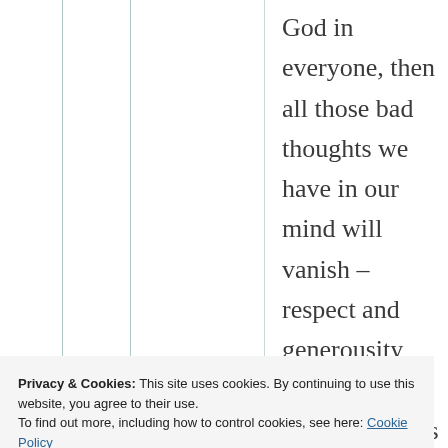God in everyone, then all those bad thoughts we have in our mind will vanish – respect and generousity will grow, my friend – God is everywhere and there is nothing but God existing, we only are a tiny drop, a fragment in Him. So if
Privacy & Cookies: This site uses cookies. By continuing to use this website, you agree to their use.
To find out more, including how to control cookies, see here: Cookie Policy
everyone, as everyone is